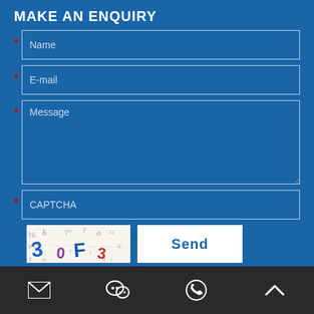MAKE AN ENQUIRY
Name
E-mail
Message
CAPTCHA
Send
[Figure (other): CAPTCHA image with distorted characters: letters and numbers in various colors on white background, showing '3 0F 3' style text]
Email icon, WeChat icon, Phone/WhatsApp icon, Up arrow icon